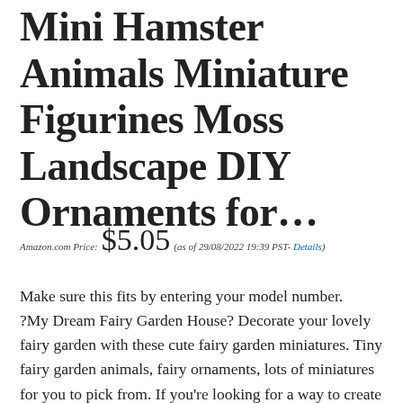Mini Hamster Animals Miniature Figurines Moss Landscape DIY Ornaments for…
Amazon.com Price: $5.05 (as of 29/08/2022 19:39 PST- Details)
Make sure this fits by entering your model number. ?My Dream Fairy Garden House? Decorate your lovely fairy garden with these cute fairy garden miniatures. Tiny fairy garden animals, fairy ornaments, lots of miniatures for you to pick from. If you're looking for a way to create an enchanted delightful fairy garden, then this is perfect!!! These fairy garden decor are